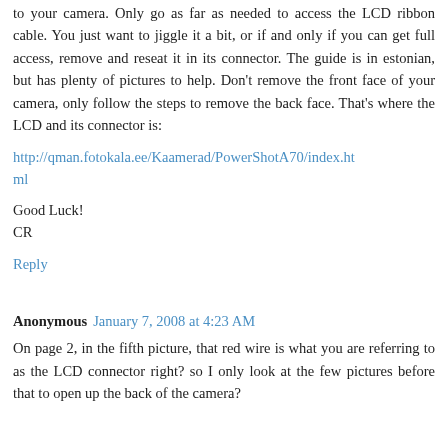to your camera. Only go as far as needed to access the LCD ribbon cable. You just want to jiggle it a bit, or if and only if you can get full access, remove and reseat it in its connector. The guide is in estonian, but has plenty of pictures to help. Don't remove the front face of your camera, only follow the steps to remove the back face. That's where the LCD and its connector is:
http://qman.fotokala.ee/Kaamerad/PowerShotA70/index.html
Good Luck!
CR
Reply
Anonymous January 7, 2008 at 4:23 AM
On page 2, in the fifth picture, that red wire is what you are referring to as the LCD connector right? so I only look at the few pictures before that to open up the back of the camera?